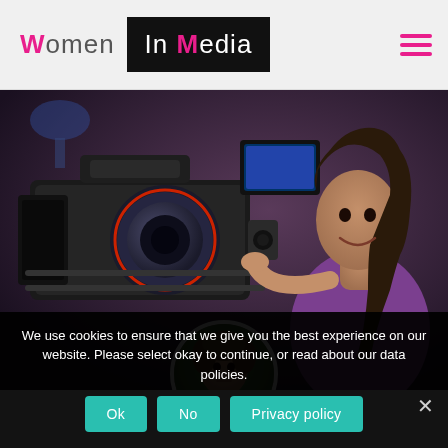Women In Media — navigation header with logo and hamburger menu
[Figure (photo): A woman cinematographer operating a large professional cinema camera in a studio/production setting, wearing a purple shirt, with equipment visible. A circular profile photo of a woman with curly brown hair is overlaid at the bottom center of the hero image.]
We use cookies to ensure that we give you the best experience on our website. Please select okay to continue, or read about our data policies.
Ok  No  Privacy policy